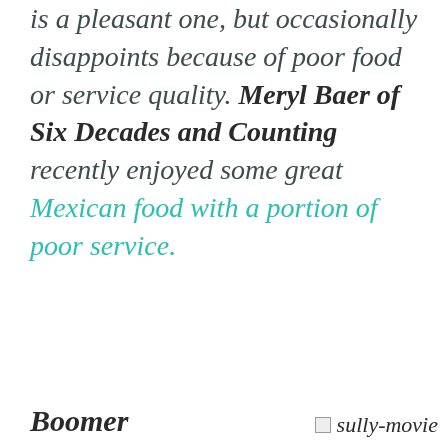is a pleasant one, but occasionally disappoints because of poor food or service quality. Meryl Baer of Six Decades and Counting recently enjoyed some great Mexican food with a portion of poor service.
Boomer
sully-movie